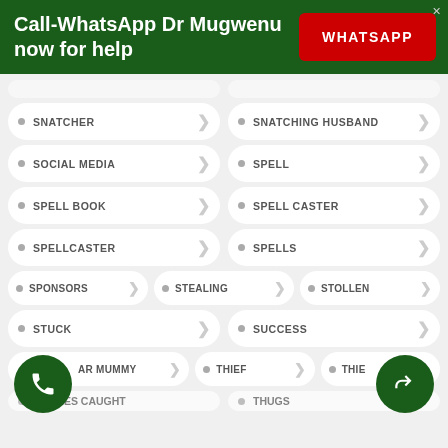[Figure (infographic): Green banner with text 'Call-WhatsApp Dr Mugwenu now for help' and a red WHATSAPP button]
SNATCHER
SNATCHING HUSBAND
SOCIAL MEDIA
SPELL
SPELL BOOK
SPELL CASTER
SPELLCASTER
SPELLS
SPONSORS
STEALING
STOLLEN
STUCK
SUCCESS
AR MUMMY
THIEF
THIE
THIEVES CAUGHT
THUGS